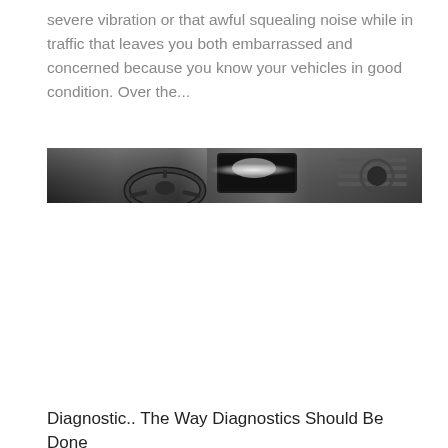severe vibration or that awful squealing noise while in traffic that leaves you both embarrassed and concerned because you know your vehicles in good condition. Over the...
[Figure (photo): Black and white photo of a car interior showing steering wheel and dashboard with instrument cluster lighting]
Diagnostic.. The Way Diagnostics Should Be Done